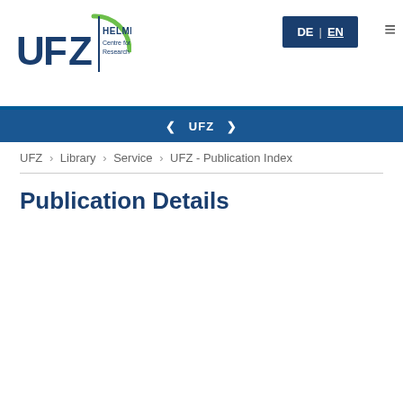[Figure (logo): UFZ Helmholtz Centre for Environmental Research logo with circular arc design]
DE | EN  ☰
❮ UFZ ❯
UFZ > Library > Service > UFZ - Publication Index
Publication Details
| Field | Value |
| --- | --- |
| Reference Category | Journals |
| DOI / URL | 🔗 link |
| Document | 🔗 Shareable Link |
| Title (Primary) | Continuous cyclohexane oxidation to cyclohexanol using a novel cytochrome P450 monooxygenase from Acidovorax sp. |